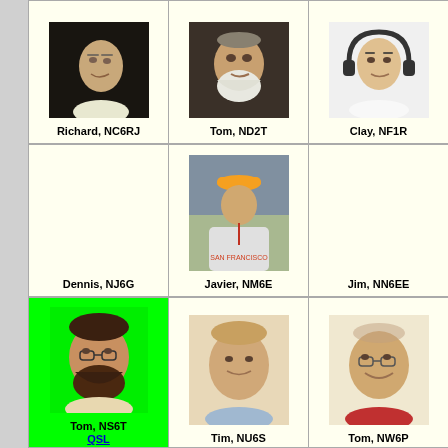[Figure (photo): Grid of amateur radio operator photos with names and callsigns. Row 1: Richard NC6RJ (person looking down), Tom ND2T (older man with white beard), Clay NF1R (young man with headphones). Row 2: Dennis NJ6G (empty/no photo), Javier NM6E (man at baseball game in SF Giants jersey), Jim NN6EE (empty/no photo). Row 3: Tom NS6T (bearded man, green highlight background, with QSL link), Tim NU6S (middle-aged man), Tom NW6P (older man smiling). Partial row 4 visible at bottom.]